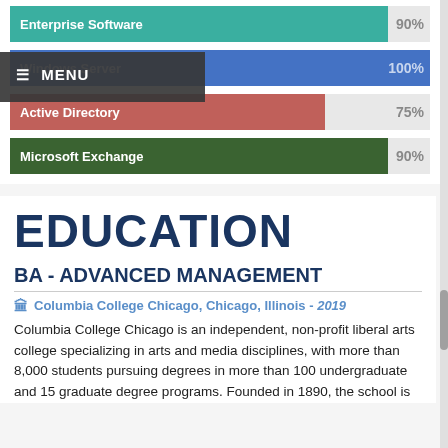[Figure (bar-chart): Skills]
EDUCATION
BA - ADVANCED MANAGEMENT
Columbia College Chicago, Chicago, Illinois - 2019
Columbia College Chicago is an independent, non-profit liberal arts college specializing in arts and media disciplines, with more than 8,000 students pursuing degrees in more than 100 undergraduate and 15 graduate degree programs. Founded in 1890, the school is